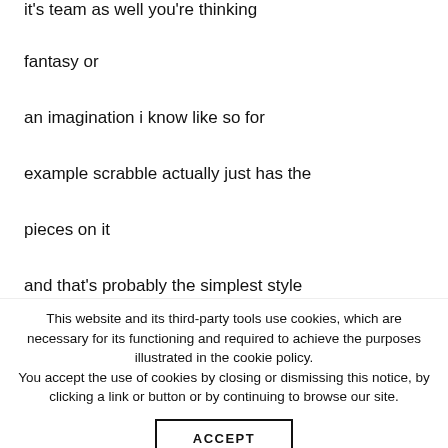it's team as well you're thinking
fantasy or
an imagination i know like so for
example scrabble actually just has the
pieces on it
and that's probably the simplest style
This website and its third-party tools use cookies, which are necessary for its functioning and required to achieve the purposes illustrated in the cookie policy. You accept the use of cookies by closing or dismissing this notice, by clicking a link or button or by continuing to browse our site.
ACCEPT